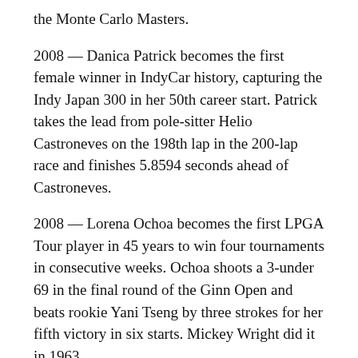the Monte Carlo Masters.
2008 — Danica Patrick becomes the first female winner in IndyCar history, capturing the Indy Japan 300 in her 50th career start. Patrick takes the lead from pole-sitter Helio Castroneves on the 198th lap in the 200-lap race and finishes 5.8594 seconds ahead of Castroneves.
2008 — Lorena Ochoa becomes the first LPGA Tour player in 45 years to win four tournaments in consecutive weeks. Ochoa shoots a 3-under 69 in the final round of the Ginn Open and beats rookie Yani Tseng by three strokes for her fifth victory in six starts. Mickey Wright did it in 1963.
2014 — Bernard Hopkins, 49, becomes the oldest to win a unification light heavyweight bout as he captures a split 12-round decision over 30-year-old Beibut Shumenov of Kazakhstan. Hopkins, who